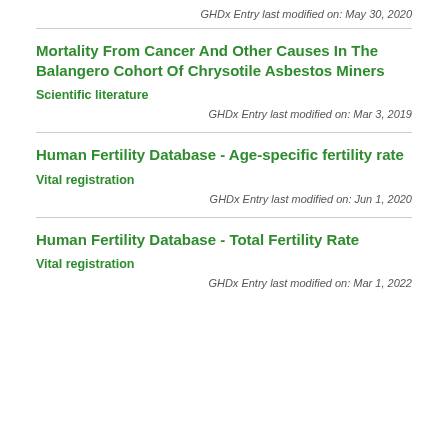GHDx Entry last modified on: May 30, 2020
Mortality From Cancer And Other Causes In The Balangero Cohort Of Chrysotile Asbestos Miners
Scientific literature
GHDx Entry last modified on: Mar 3, 2019
Human Fertility Database - Age-specific fertility rate
Vital registration
GHDx Entry last modified on: Jun 1, 2020
Human Fertility Database - Total Fertility Rate
Vital registration
GHDx Entry last modified on: Mar 1, 2022